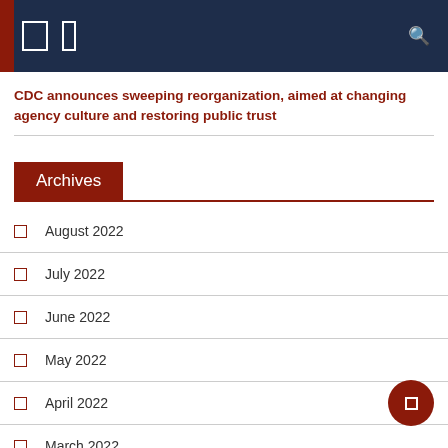Navigation header bar
CDC announces sweeping reorganization, aimed at changing agency culture and restoring public trust
Archives
August 2022
July 2022
June 2022
May 2022
April 2022
March 2022